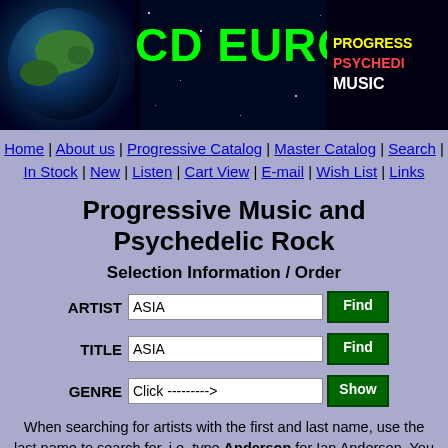CD EUROXPRESS | PROGRESSIVE PSYCHEDELIC MUSIC
Home | About us | Progressive Catalog | Master Catalog | Search | In Stock | New | Listen | Cart View | E-mail | Wish List | Links
Progressive Music and Psychedelic Rock
Selection Information / Order
ARTIST: ASIA [Find button]
TITLE: ASIA [Find button]
GENRE: Click ---------> [Show button]
When searching for artists with the first and last name, use the last name to search for, i.e. type Anderson for Ian Anderson. You can also type any letter in the search boxes, i.e. A or E, M....etc., to see what is available under that letter. For all other available items go to Progressive Catalog, Master Catalog or New Releases. To view all other available "genres" please click on Genre or use Search